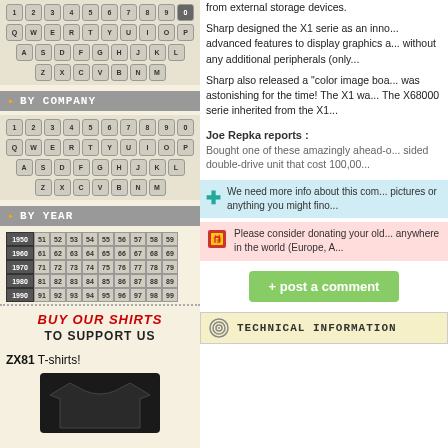[Figure (screenshot): Left navigation column with keyboard key layouts, BY COMPANY section header with keyboard keys, BY YEAR section header with year number grid from 1950–1999, a shirt promotion section, and ZX81 T-shirts product listing.]
from external storage devices.
Sharp designed the X1 serie as an inno... advanced features to display graphics a... without any additional peripherals (only...
Sharp also released a "color image boa... was astonishing for the time! The X1 wa... The X68000 serie inherited from the X1...
Joe Repka reports : Bought one of these amazingly ahead-o... sided double-drive unit that cost 100,00...
We need more info about this com... pictures or anything you might fino...
Please consider donating your old... anywhere in the world (Europe, A...
+ post a comment
TECHNICAL INFORMATION